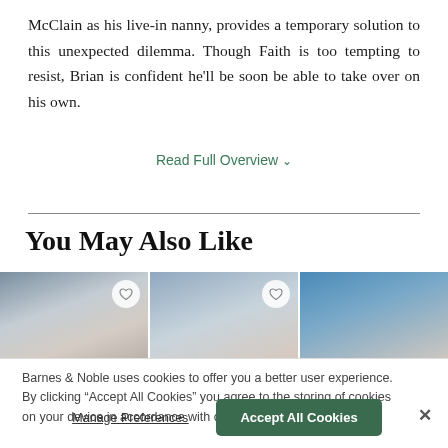McClain as his live-in nanny, provides a temporary solution to this unexpected dilemma. Though Faith is too tempting to resist, Brian is confident he'll be soon be able to take over on his own.
Read Full Overview ∨
You May Also Like
[Figure (photo): Three book cover thumbnails shown side by side with heart/wishlist buttons on each]
Barnes & Noble uses cookies to offer you a better user experience. By clicking "Accept All Cookies" you agree to the storing of cookies on your device in accordance with our Cookie Policy
Manage Preferences
Accept All Cookies